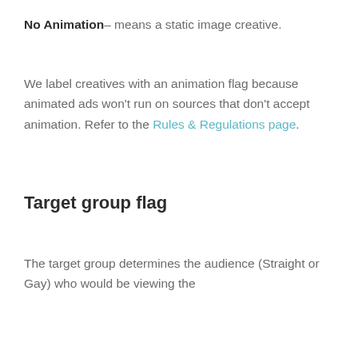No Animation– means a static image creative.
We label creatives with an animation flag because animated ads won't run on sources that don't accept animation. Refer to the Rules & Regulations page.
Target group flag
The target group determines the audience (Straight or Gay) who would be viewing the